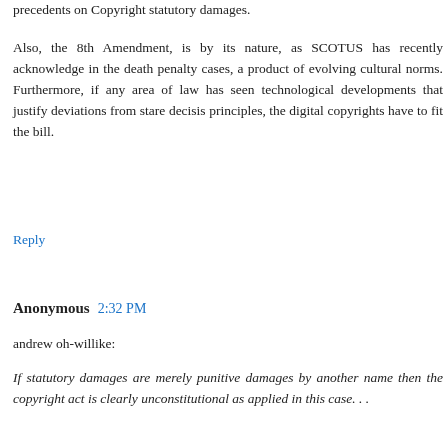precedents on Copyright statutory damages.
Also, the 8th Amendment, is by its nature, as SCOTUS has recently acknowledge in the death penalty cases, a product of evolving cultural norms. Furthermore, if any area of law has seen technological developments that justify deviations from stare decisis principles, the digital copyrights have to fit the bill.
Reply
Anonymous 2:32 PM
andrew oh-willike:
If statutory damages are merely punitive damages by another name then the copyright act is clearly unconstitutional as applied in this case. . .
This is the crux of the question that remains.
If statutory damages are not held to be the same as punitive damages, then our esteemed Blogfather must be